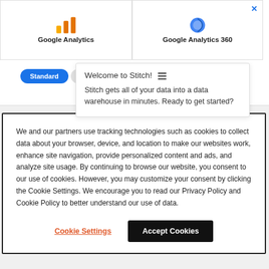[Figure (screenshot): Google Analytics connector card with orange/yellow logo icon and bold label 'Google Analytics']
[Figure (screenshot): Google Analytics 360 connector card with blue sphere logo icon and bold label 'Google Analytics 360', with a blue X close button in top right]
Welcome to Stitch! ≡
Stitch gets all of your data into a data warehouse in minutes. Ready to get started?
[Figure (screenshot): Blue 'Standard' pill button and a grey 'S' pill button below the connector cards]
We and our partners use tracking technologies such as cookies to collect data about your browser, device, and location to make our websites work, enhance site navigation, provide personalized content and ads, and analyze site usage. By continuing to browse our website, you consent to our use of cookies. However, you may customize your consent by clicking the Cookie Settings. We encourage you to read our Privacy Policy and Cookie Policy to better understand our use of data.
Cookie Settings
Accept Cookies